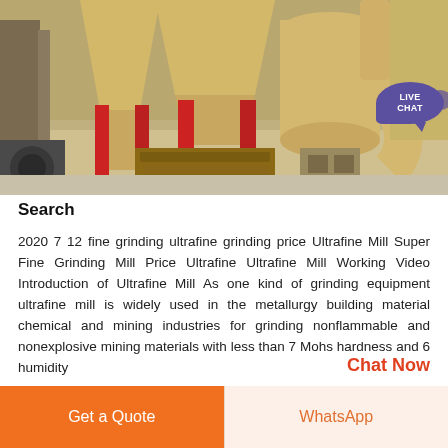[Figure (photo): Industrial ultrafine grinding mill equipment inside a factory/warehouse setting, showing large yellow industrial hoppers/cyclones with red metal support frames, conveyor and dust collection equipment on a concrete floor.]
Search
2020 7 12 fine grinding ultrafine grinding price Ultrafine Mill Super Fine Grinding Mill Price Ultrafine Ultrafine Mill Working Video Introduction of Ultrafine Mill As one kind of grinding equipment ultrafine mill is widely used in the metallurgy building material chemical and mining industries for grinding nonflammable and nonexplosive mining materials with less than 7 Mohs hardness and 6 humidity
Chat Now
Get a Quote
WhatsApp